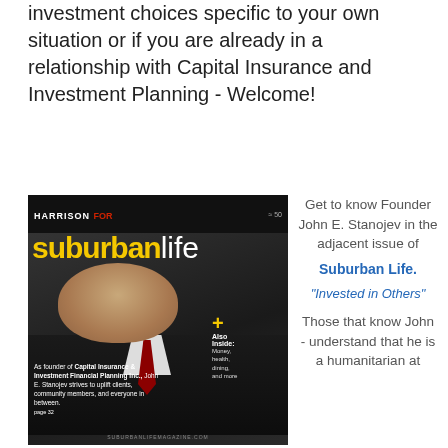investment choices specific to your own situation or if you are already in a relationship with Capital Insurance and Investment Planning - Welcome!
[Figure (photo): Magazine cover of Suburban Life featuring John E. Stanojev, founder of Capital Insurance & Investment Financial Planning Inc., wearing a suit and red tie. The cover includes text 'Also Inside: Money, health, dining, and more' and a caption about John E. Stanojev striving to uplift clients, community members, and everyone in between. Page 32.]
Get to know Founder John E. Stanojev in the adjacent issue of
Suburban Life.
"Invested in Others"
Those that know John - understand that he is a humanitarian at